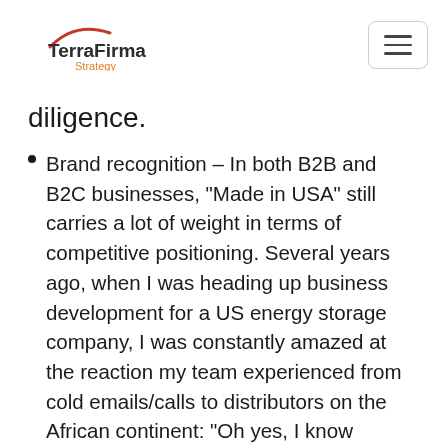TerraFirma Strategy
diligence.
Brand recognition – In both B2B and B2C businesses, “Made in USA” still carries a lot of weight in terms of competitive positioning. Several years ago, when I was heading up business development for a US energy storage company, I was constantly amazed at the reaction my team experienced from cold emails/calls to distributors on the African continent: “Oh yes, I know [Company], very famous brand.” That crack in the door led to many “wins”